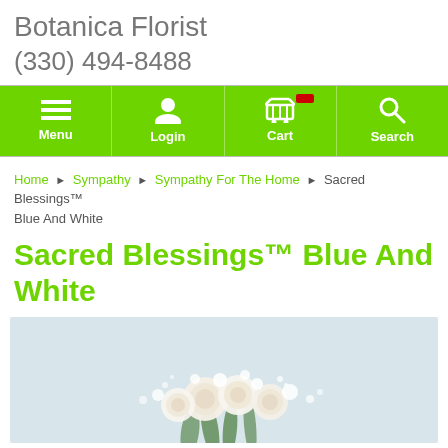Botanica Florist
(330) 494-8488
[Figure (screenshot): Navigation bar with green background showing Menu, Login, Cart, and Search icons]
Home › Sympathy › Sympathy For The Home › Sacred Blessings™ Blue And White
Sacred Blessings™ Blue And White
[Figure (photo): Photo of white and cream flower arrangement with greenery on a light blue background]